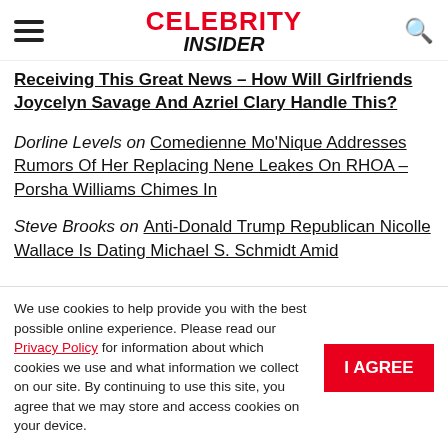CELEBRITY INSIDER
Receiving This Great News – How Will Girlfriends Joycelyn Savage And Azriel Clary Handle This?
Dorline Levels on Comedienne Mo'Nique Addresses Rumors Of Her Replacing Nene Leakes On RHOA – Porsha Williams Chimes In
Steve Brooks on Anti-Donald Trump Republican Nicolle Wallace Is Dating Michael S. Schmidt Amid
We use cookies to help provide you with the best possible online experience. Please read our Privacy Policy for information about which cookies we use and what information we collect on our site. By continuing to use this site, you agree that we may store and access cookies on your device.